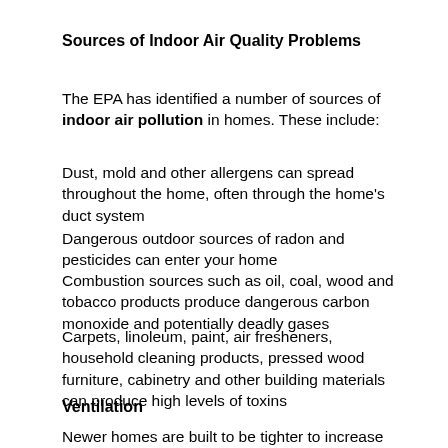Sources of Indoor Air Quality Problems
The EPA has identified a number of sources of indoor air pollution in homes. These include:
Dust, mold and other allergens can spread throughout the home, often through the home's duct system
Dangerous outdoor sources of radon and pesticides can enter your home
Combustion sources such as oil, coal, wood and tobacco products produce dangerous carbon monoxide and potentially deadly gases
Carpets, linoleum, paint, air fresheners, household cleaning products, pressed wood furniture, cabinetry and other building materials can produce high levels of toxins
Ventilation
Newer homes are built to be tighter to increase